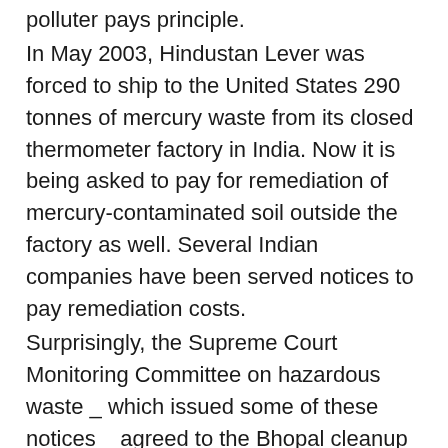polluter pays principle. In May 2003, Hindustan Lever was forced to ship to the United States 290 tonnes of mercury waste from its closed thermometer factory in India. Now it is being asked to pay for remediation of mercury-contaminated soil outside the factory as well. Several Indian companies have been served notices to pay remediation costs. Surprisingly, the Supreme Court Monitoring Committee on hazardous waste _ which issued some of these notices _ agreed to the Bhopal cleanup without insisting on polluter pays or realising the implications on pending cases of liability against Union Carbide. Legal aspects apart, the way the operation was carried out last week has raised the hackles of gas victims. Satinath Sarangi of the Bhopal Group for Information and Action, said several hundred people have been affected due to the toxic dust that flew due to crude and unsafe methods deployed in cleaning up. MIG...